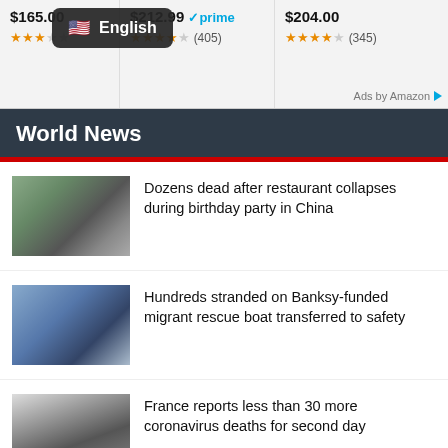[Figure (screenshot): Amazon ad bar showing products at $165.00, $212.99 (prime), $204.00 with star ratings. English language overlay visible.]
Ads by Amazon
World News
[Figure (photo): Collapsed building rubble - China restaurant collapse]
Dozens dead after restaurant collapses during birthday party in China
[Figure (photo): Migrants on rescue boat]
Hundreds stranded on Banksy-funded migrant rescue boat transferred to safety
[Figure (photo): People outside building in France]
France reports less than 30 more coronavirus deaths for second day
[Figure (photo): Riot police in Hong Kong]
Riot police shield Hong Kong legislature as